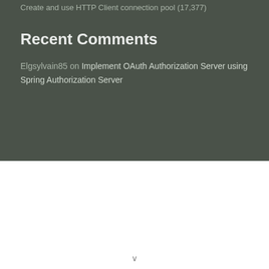Create and use HTTP Client connection pool (17,377)
Recent Comments
Elgsylvain85 on Implement OAuth Authorization Server using Spring Authorization Server